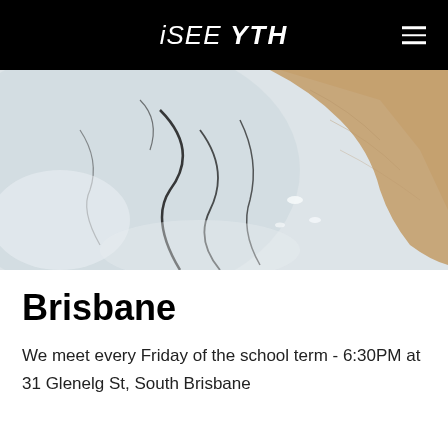iSEE YTH
[Figure (photo): Aerial drone view of a snow/ice field meeting a sandy beach, with dark cracks running through the white ice and sandy tan tones on the right side.]
Brisbane
We meet every Friday of the school term - 6:30PM at 31 Glenelg St, South Brisbane